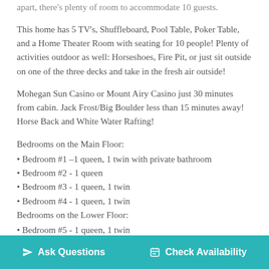…apart, there's plenty of room to accommodate 10 guests.
This home has 5 TV's, Shuffleboard, Pool Table, Poker Table, and a Home Theater Room with seating for 10 people! Plenty of activities outdoor as well: Horseshoes, Fire Pit, or just sit outside on one of the three decks and take in the fresh air outside!
Mohegan Sun Casino or Mount Airy Casino just 30 minutes from cabin. Jack Frost/Big Boulder less than 15 minutes away! Horse Back and White Water Rafting!
Bedrooms on the Main Floor:
• Bedroom #1 –1 queen, 1 twin with private bathroom
• Bedroom #2 - 1 queen
• Bedroom #3 - 1 queen, 1 twin
• Bedroom #4 - 1 queen, 1 twin
Bedrooms on the Lower Floor:
• Bedroom #5 - 1 queen, 1 twin
• Bedroom #6 - 1 queen
Ask Questions   Check Availability